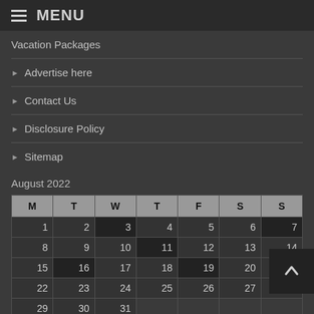MENU
Vacation Packages
Advertise here
Contact Us
Disclosure Policy
Sitemap
August 2022
| M | T | W | T | F | S | S |
| --- | --- | --- | --- | --- | --- | --- |
| 1 | 2 | 3 | 4 | 5 | 6 | 7 |
| 8 | 9 | 10 | 11 | 12 | 13 | 14 |
| 15 | 16 | 17 | 18 | 19 | 20 | 21 |
| 22 | 23 | 24 | 25 | 26 | 27 | 28 |
| 29 | 30 | 31 |  |  |  |  |